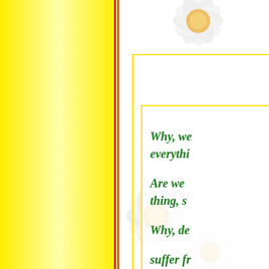[Figure (illustration): Yellow gradient left panel with red vertical border lines, white daisy flowers on right side, nested yellow rectangular borders framing green italic text]
Why, we everythi Are we thing, s Why, de suffer fr How can